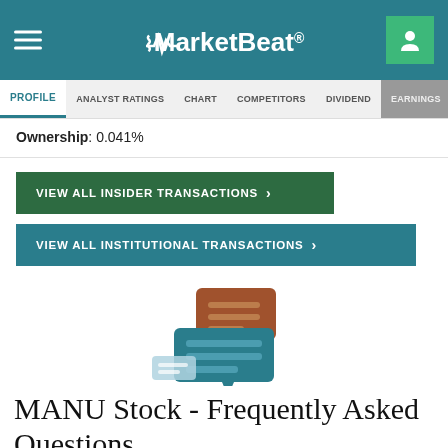MarketBeat
Ownership: 0.041%
VIEW ALL INSIDER TRANSACTIONS >
VIEW ALL INSTITUTIONAL TRANSACTIONS >
[Figure (illustration): Two overlapping speech bubble icons in brown and teal colors, with a small light blue bubble below]
MANU Stock - Frequently Asked Questions